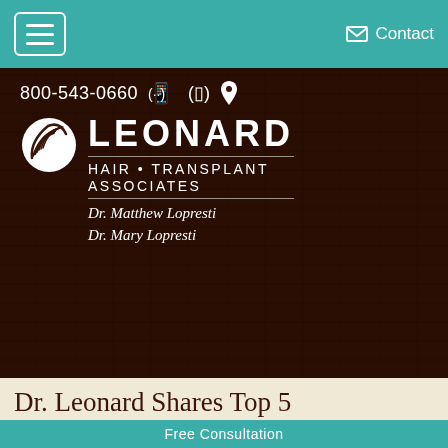Navigation bar with hamburger menu and Contact link
[Figure (logo): Leonard Hair Transplant Associates logo with circular swoosh icon, text LEONARD, subtitle HAIR • TRANSPLANT ASSOCIATES, Dr. Matthew Lopresti, Dr. Mary Lopresti, phone number 800-543-0660]
Dr. Leonard Shares Top 5
Free Consultation